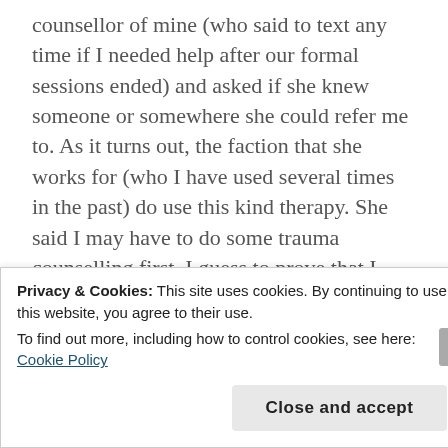counsellor of mine (who said to text any time if I needed help after our formal sessions ended) and asked if she knew someone or somewhere she could refer me to. As it turns out, the faction that she works for (who I have used several times in the past) do use this kind therapy. She said I may have to do some trauma counselling first, I guess to prove that I have PTSD and that I've exhausted other treatment options, but I'm okay with that. From my experience they've always been quite receptive when I've told them "this is what's wrong with me, this is what I've tried, these treatments work, these ones don't, this
Privacy & Cookies: This site uses cookies. By continuing to use this website, you agree to their use.
To find out more, including how to control cookies, see here: Cookie Policy